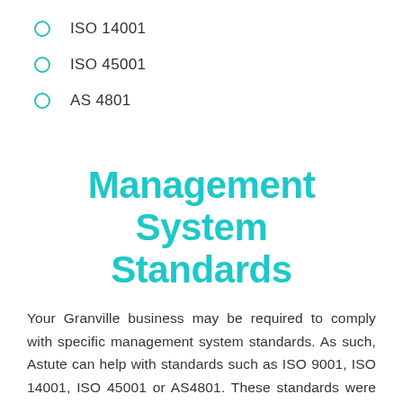ISO 14001
ISO 45001
AS 4801
Management System Standards
Your Granville business may be required to comply with specific management system standards. As such, Astute can help with standards such as ISO 9001, ISO 14001, ISO 45001 or AS4801. These standards were created by the